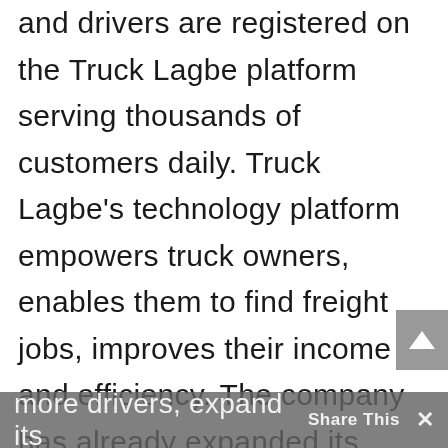and drivers are registered on the Truck Lagbe platform serving thousands of customers daily. Truck Lagbe's technology platform empowers truck owners, enables them to find freight jobs, improves their income and efficiency. The company has already expanded its services across Bangladesh. Naturally, it wants to acquire more drivers, expand its
more drivers, expand its   Share This   ×